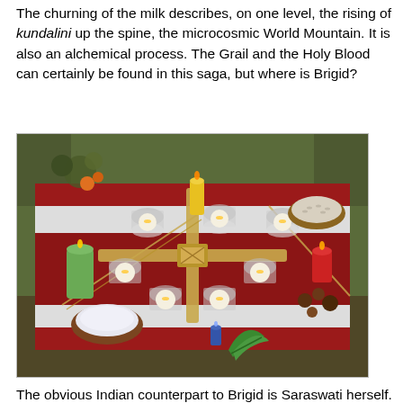The churning of the milk describes, on one level, the rising of kundalini up the spine, the microcosmic World Mountain. It is also an alchemical process. The Grail and the Holy Blood can certainly be found in this saga, but where is Brigid?
[Figure (photo): A ritual altar on a red and white cloth on grass, with a Brigid's cross made of straw, multiple tea light candles in glass holders, a green pillar candle, a red candle, a yellow candle, a bowl of white rice or seeds, a bowl of white liquid (milk), a small blue candle, and various natural items including wheat stalks, a plant, and nuts or berries.]
The obvious Indian counterpart to Brigid is Saraswati herself. She is the mythical third river at the Prayag confluence, the